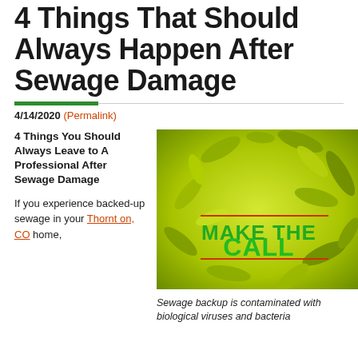4 Things That Should Always Happen After Sewage Damage
4/14/2020 (Permalink)
4 Things You Should Always Leave to A Professional After Sewage Damage
If you experience backed-up sewage in your Thornton, CO home,
[Figure (photo): Close-up image of green bacteria/microorganisms with text overlay reading MAKE THE CALL in green, with orange horizontal lines above and below.]
Sewage backup is contaminated with biological viruses and bacteria